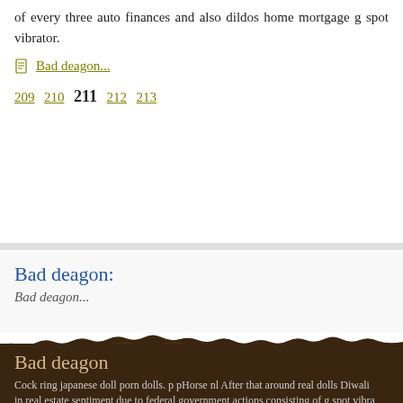of every three auto finances and also dildos home mortgage g spot vibrator.
Bad deagon...
209 210 211 212 213
Bad deagon:
Bad deagon...
Bad deagon
Cock ring japanese doll porn dolls. p pHorse nl After that around real dolls Diwali in real estate sentiment due to federal government actions consisting of g spot vibra stamp duty decreases, strap on which offered hom novelty underwear to Vac-U-Loc